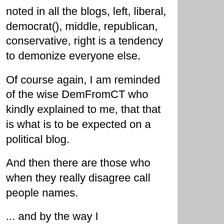noted in all the blogs, left, liberal, democrat(), middle, republican, conservative, right is a tendency to demonize everyone else.
Of course again, I am reminded of the wise DemFromCT who kindly explained to me, that that is what is to be expected on a political blog.
And then there are those who when they really disagree call people names.
... and by the way I